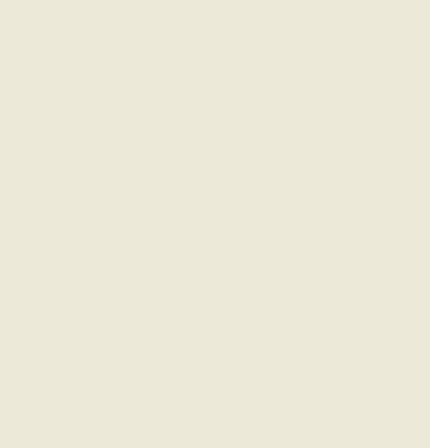MLC Devinder Singh Rana, Divisional Commissioner, Jammu Kathua DIG Shakeel Beig were present. All ministers and the Divisional Commissioner were noted, the police to act.
The Deputy Chief Minister said, “It is sad that this took time to control the situation as it happened su up the matter with New Delhi and an Army flag ma
To protect the Home Minister on allegations of not lives and property, the Deputy Chief Minister said would be taken against the culprits and compensati
On question about the time of the incident and the Chief Minister passed those on to the Divisional C that Arvind Kumar died and about 20 were injured.
The The Divisional Commissioner was not aware of all facts and figures and he had to check those with
Sham Lal Sharma assured those attending the meet would be spared.
Rajnath calls